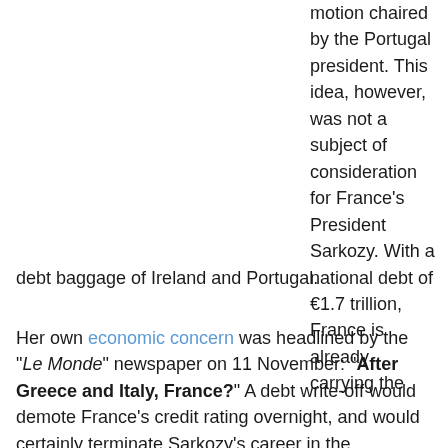motion chaired by the Portugal president. This idea, however, was not a subject of consideration for France's President Sarkozy. With a national debt of €1.7 trillion, France is already carrying the debt baggage of Ireland and Portugal.
Her own economic concern was headlined by the "Le Monde" newspaper on 11 November: "After Greece and Italy, France?" A debt write-off would demote France's credit rating overnight, and would certainly terminate Sarkozy's career in the impending re-election.